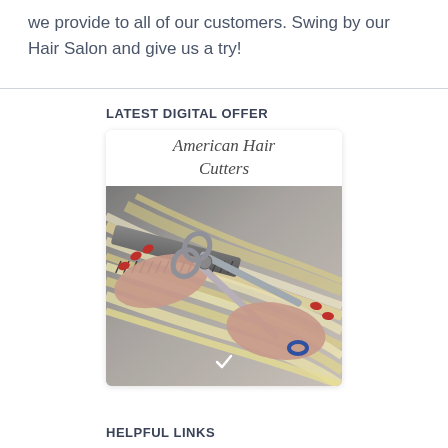we provide to all of our customers. Swing by our Hair Salon and give us a try!
LATEST DIGITAL OFFER
[Figure (illustration): American Hair Cutters promotional card with a photo of hands cutting blonde hair with scissors and a comb, featuring a cursive logo at the top and a checkmark at the bottom.]
HELPFUL LINKS